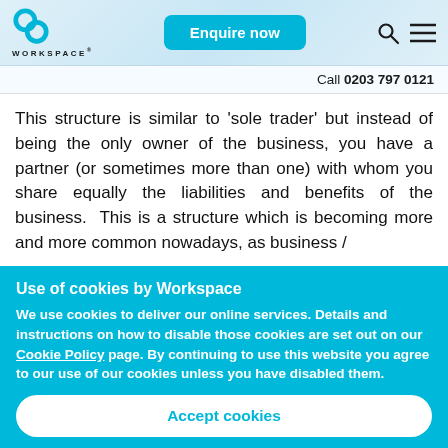WORKSPACE® | Enquire now
Call 0203 797 0121
This structure is similar to 'sole trader' but instead of being the only owner of the business, you have a partner (or sometimes more than one) with whom you share equally the liabilities and benefits of the business.  This is a structure which is becoming more and more common nowadays, as business /
Use of cookies by Workspace
We use cookies to deliver our online services. Details and instructions on how to disable those cookies are set out on our Cookie Policy page. By continuing to use this website you agree to our use of our cookies unless you have disabled them.
Accept cookies